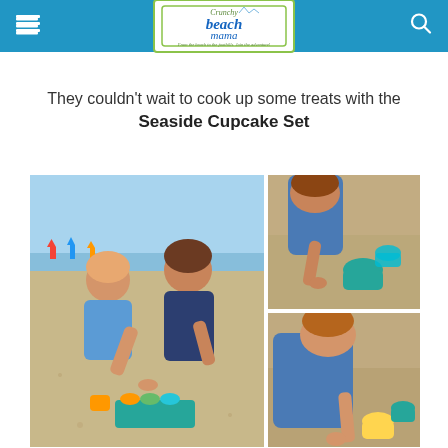Crunchy Beach Mama — From the beach to the foothills. Join the adventure!
They couldn't wait to cook up some treats with the Seaside Cupcake Set
[Figure (photo): Two children playing in the sand at the beach with colorful cupcake mold toys]
[Figure (photo): Child looking down at sand with green cupcake mold toy]
[Figure (photo): Child playing in sand with yellow and teal beach toy cupcake set]